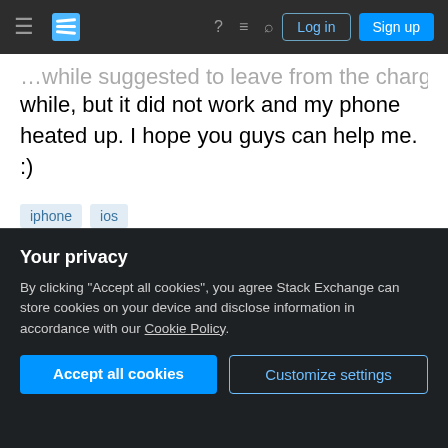Stack Exchange navigation bar with Log in and Sign up buttons
...while suggested to leave from the charger for a while, but it did not work and my phone heated up. I hope you guys can help me. :)
iphone
ios
Share
Improve this question
Follow
edited Mar 10, 2020 at 15:31
bmike ♦
221k • 77 • 391 • 846
asked Jun 6, 2016 at 3:08
PracticalPANDAmonium
Your privacy
By clicking "Accept all cookies", you agree Stack Exchange can store cookies on your device and disclose information in accordance with our Cookie Policy.
Accept all cookies
Customize settings